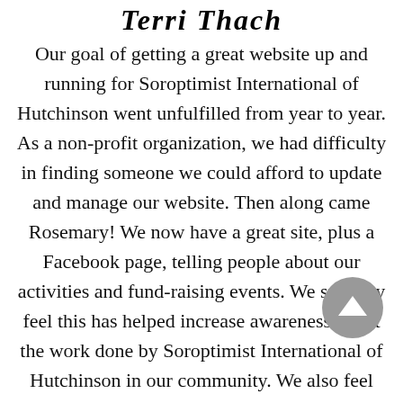Terri Thach
Our goal of getting a great website up and running for Soroptimist International of Hutchinson went unfulfilled from year to year. As a non-profit organization, we had difficulty in finding someone we could afford to update and manage our website. Then along came Rosemary! We now have a great site, plus a Facebook page, telling people about our activities and fund-raising events. We strongly feel this has helped increase awareness about the work done by Soroptimist International of Hutchinson in our community. We also feel attendance at our events has increased because of this. She is full of perfect ideas to get our message